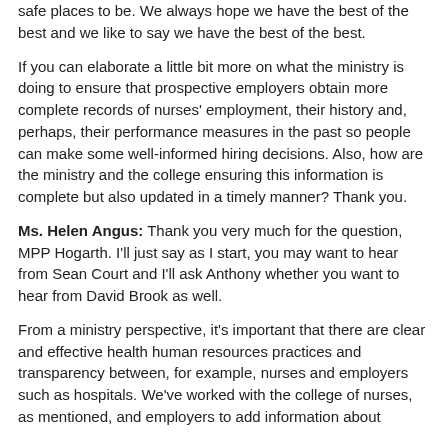safe places to be. We always hope we have the best of the best and we like to say we have the best of the best.
If you can elaborate a little bit more on what the ministry is doing to ensure that prospective employers obtain more complete records of nurses' employment, their history and, perhaps, their performance measures in the past so people can make some well-informed hiring decisions. Also, how are the ministry and the college ensuring this information is complete but also updated in a timely manner? Thank you.
Ms. Helen Angus: Thank you very much for the question, MPP Hogarth. I'll just say as I start, you may want to hear from Sean Court and I'll ask Anthony whether you want to hear from David Brook as well.
From a ministry perspective, it's important that there are clear and effective health human resources practices and transparency between, for example, nurses and employers such as hospitals. We've worked with the college of nurses, as mentioned, and employers to add information about